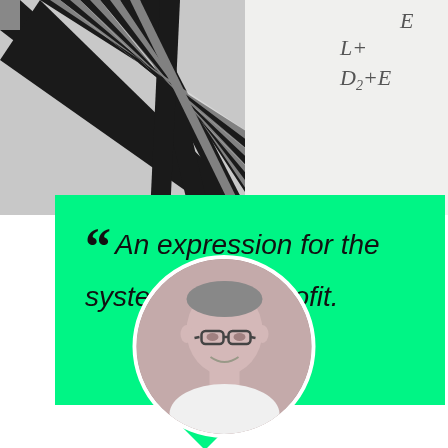[Figure (photo): Black and white photo of a modern building with diagonal striped architecture on the left, and a light gray background with partial mathematical formula text (L+D2+E) on the right]
“” An expression for the system rate of profit.
[Figure (photo): Circular black and white portrait photo of a middle-aged man with glasses, smiling slightly, wearing a white shirt]